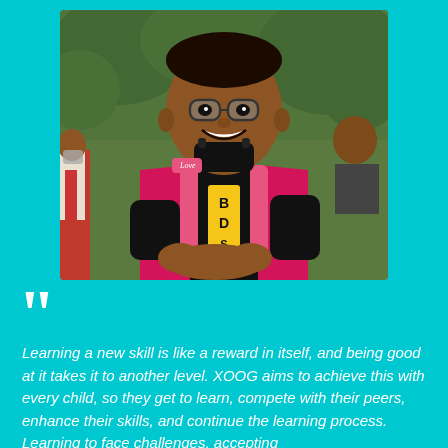[Figure (photo): Young man smiling, wearing a black face mask around his chin, a red and black jacket, pink backpack, and a yellow badge on his shirt. Background shows greenery and other people.]
Learning a new skill is like a reward in itself, and being good at it takes it to another level. XOOG aims to achieve this with every child, so they get to learn, compete with their peers, enhance their skills, and continue the learning process. Learning to face challenges, accepting